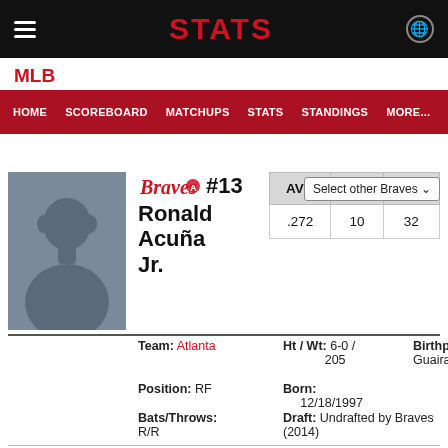STATS
MLB
HOME  SCOREBOARD  MATCHUPS  STATS  STANDINGS  MORE...
Select other Braves
#13 Ronald Acuña Jr.
| AVG | HR | RBI |
| --- | --- | --- |
| .272 | 10 | 32 |
Team: Atlanta
Ht / Wt: 6-0 / 205
Position: RF
Born: 12/18/1997
Birthplace: La Guaira, Venezuela
Bats/Throws: R/R
Draft: Undrafted by Braves (2014)
Stats  Splits  Game Logs  News